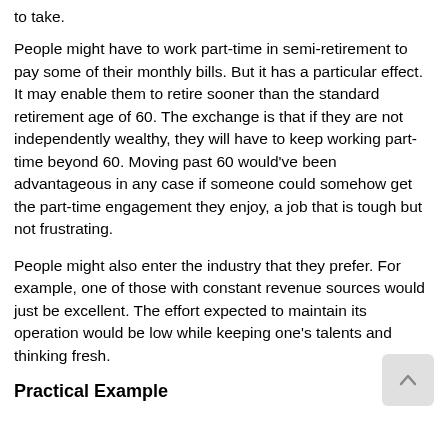to take.
People might have to work part-time in semi-retirement to pay some of their monthly bills. But it has a particular effect. It may enable them to retire sooner than the standard retirement age of 60. The exchange is that if they are not independently wealthy, they will have to keep working part-time beyond 60. Moving past 60 would've been advantageous in any case if someone could somehow get the part-time engagement they enjoy, a job that is tough but not frustrating.
People might also enter the industry that they prefer. For example, one of those with constant revenue sources would just be excellent. The effort expected to maintain its operation would be low while keeping one's talents and thinking fresh.
Practical Example